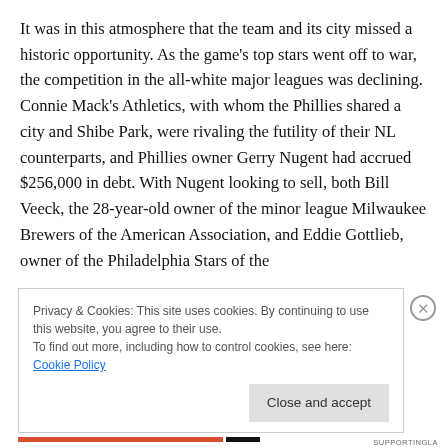It was in this atmosphere that the team and its city missed a historic opportunity. As the game's top stars went off to war, the competition in the all-white major leagues was declining. Connie Mack's Athletics, with whom the Phillies shared a city and Shibe Park, were rivaling the futility of their NL counterparts, and Phillies owner Gerry Nugent had accrued $256,000 in debt. With Nugent looking to sell, both Bill Veeck, the 28-year-old owner of the minor league Milwaukee Brewers of the American Association, and Eddie Gottlieb, owner of the Philadelphia Stars of the
Privacy & Cookies: This site uses cookies. By continuing to use this website, you agree to their use.
To find out more, including how to control cookies, see here: Cookie Policy
Close and accept